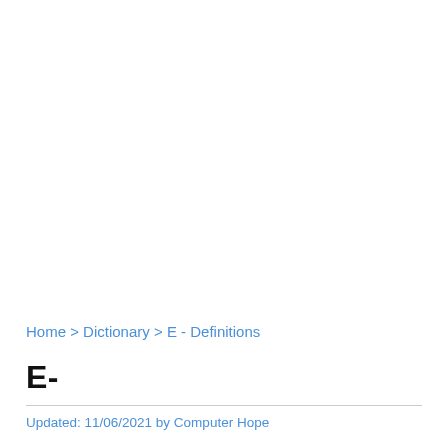Home > Dictionary > E - Definitions
E-
Updated: 11/06/2021 by Computer Hope